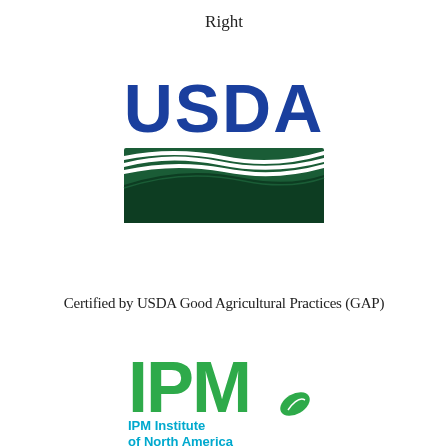Right
[Figure (logo): USDA logo with blue text 'USDA' and green rolling hills graphic beneath]
Certified by USDA Good Agricultural Practices (GAP)
[Figure (logo): IPM Institute of North America logo with large green 'IPM' letters and a leaf graphic, subtitle 'IPM Institute of North America' in teal]